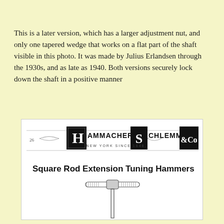This is a later version, which has a larger adjustment nut, and only one tapered wedge that works on a flat part of the shaft visible in this photo. It was made by Julius Erlandsen through the 1930s, and as late as 1940. Both versions securely lock down the shaft in a positive manner
[Figure (illustration): Hammacher Schlemmer & Co. catalog page showing the header logo with black letter blocks spelling out 'Hammacher Schlemmer & Co', 'New York Since 1848', followed by the heading 'Square Rod Extension Tuning Hammers' and an illustration of a T-shaped tuning hammer tool.]